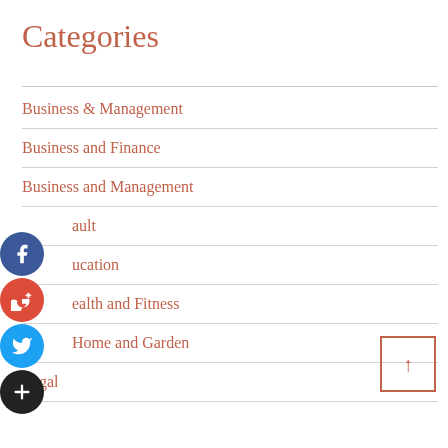Categories
Business & Management
Business and Finance
Business and Management
Default
Education
Health and Fitness
Home and Garden
Legal